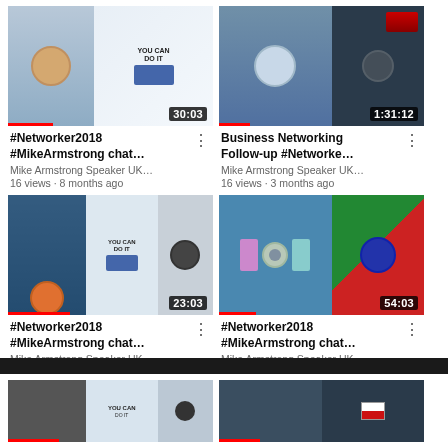[Figure (screenshot): YouTube video grid showing 4 video thumbnails with titles, channel names, view counts and ages. Top row: '#Networker2018 #MikeArmstrong chat...' (30:03, 16 views, 8 months ago) and 'Business Networking Follow-up #Networke...' (1:31:12, 16 views, 3 months ago). Bottom row: '#Networker2018 #MikeArmstrong chat...' (23:03, 49 views, 8 months ago) and '#Networker2018 #MikeArmstrong chat...' (54:03, 6 views, 7 months ago). All from Mike Armstrong Speaker UK...]
[Figure (screenshot): Partial YouTube video grid showing bottom portions of 2 more video thumbnails, cropped at bottom of page.]